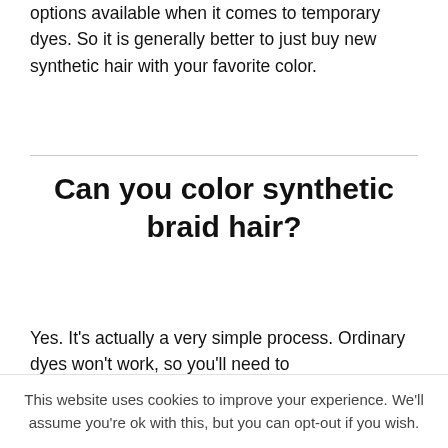options available when it comes to temporary dyes. So it is generally better to just buy new synthetic hair with your favorite color.
Can you color synthetic braid hair?
Yes. It's actually a very simple process. Ordinary dyes won't work, so you'll need to
This website uses cookies to improve your experience. We'll assume you're ok with this, but you can opt-out if you wish.